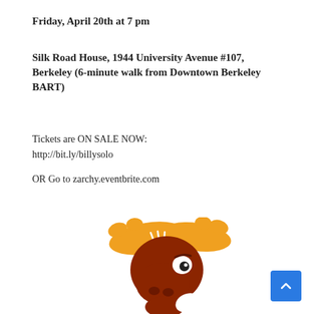Friday, April 20th at 7 pm
Silk Road House, 1944 University Avenue #107, Berkeley (6-minute walk from Downtown Berkeley BART)
Tickets are ON SALE NOW:
http://bit.ly/billysolo
OR Go to zarchy.eventbrite.com
[Figure (illustration): Cartoon moose character (Rocky the Moose style) with large brown nose, orange antlers, and white gloves, appearing to be thinking or pondering with one hand raised to chin]
[Figure (other): Blue scroll-to-top button with upward chevron arrow in bottom right corner]